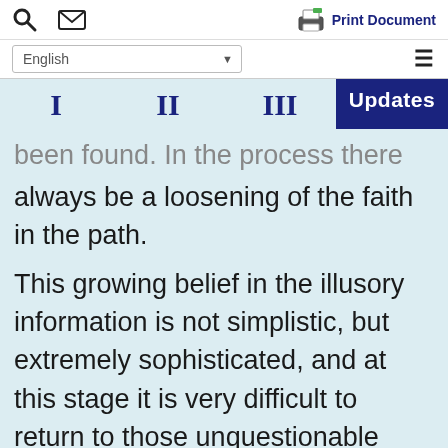Search | Mail | Print Document | English (dropdown) | Menu
I | II | III | Updates
been found. In the process there will always be a loosening of the faith in the path.
This growing belief in the illusory information is not simplistic, but extremely sophisticated, and at this stage it is very difficult to return to those unquestionable beliefs and make them the basis of everything. Still, this is the